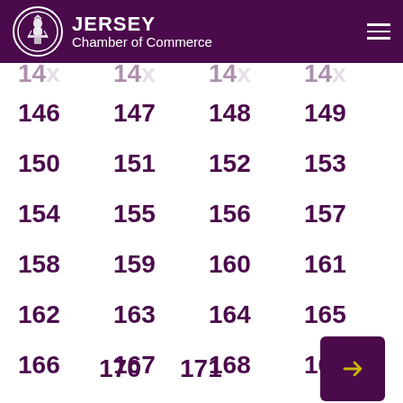JERSEY Chamber of Commerce
146  147  148  149
150  151  152  153
154  155  156  157
158  159  160  161
162  163  164  165
166  167  168  169
170  171